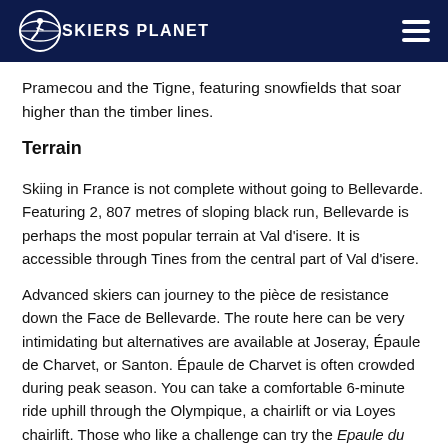SKIERS PLANET
Pramecou and the Tigne, featuring snowfields that soar higher than the timber lines.
Terrain
Skiing in France is not complete without going to Bellevarde. Featuring 2, 807 metres of sloping black run, Bellevarde is perhaps the most popular terrain at Val d’isere. It is accessible through Tines from the central part of Val d’isere.
Advanced skiers can journey to the pièce de resistance down the Face de Bellevarde. The route here can be very intimidating but alternatives are available at Joseray, Épaule de Charvet, or Santon. Épaule de Charvet is often crowded during peak season. You can take a comfortable 6-minute ride uphill through the Olympique, a chairlift or via Loyes chairlift. Those who like a challenge can try the Epaule du Charvet, at Rocher De Bellevarde.